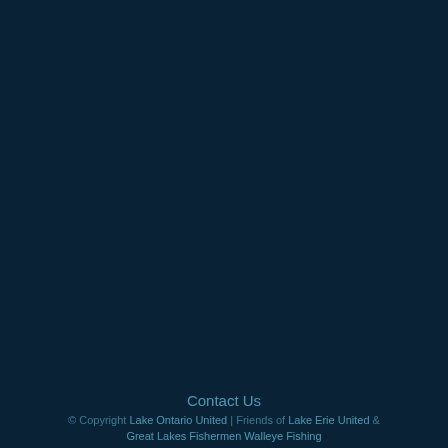Contact Us
© Copyright Lake Ontario United | Friends of Lake Erie United & Great Lakes Fishermen Walleye Fishing
© Copyright Lake Ontario United | Friends of Lake Erie United &